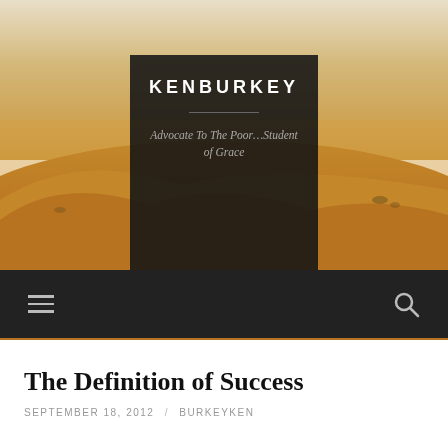[Figure (photo): Desert landscape with sandy dunes and footprints, serving as the website header background image]
KENBURKEY
Advocate To The Poor…Student of Grace
Navigation bar with hamburger menu icon and search icon
The Definition of Success
SEPTEMBER 18, 2012 / BURKEYKEN